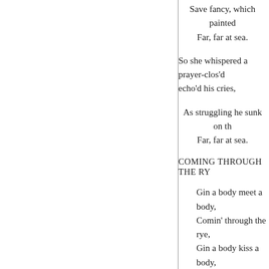Save fancy, which painted
Far, far at sea.
So she whispered a prayer-clos'd echo'd his cries,
As struggling he sunk on th
Far, far at sea.
COMING THROUGH THE RY
Gin a body meet a body,
Comin' through the rye,
Gin a body kiss a body,
Need a body cry?
Ilka body has a body,
Ne'er a ane hae I;
But a' the lads they lo'e me
And what the waur am I?
Gin a body meet a body
Comin' frae the well,